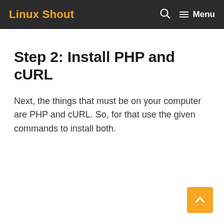Linux Shout  Menu
Step 2: Install PHP and cURL
Next, the things that must be on your computer are PHP and cURL. So, for that use the given commands to install both.